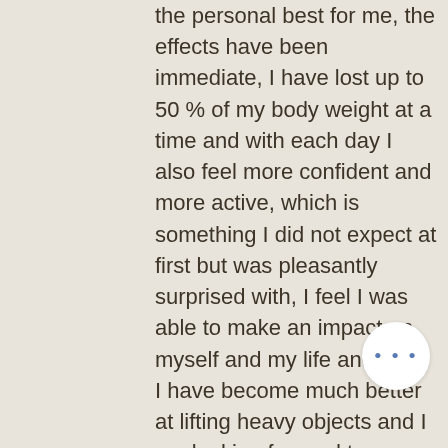the personal best for me, the effects have been immediate, I have lost up to 50 % of my body weight at a time and with each day I also feel more confident and more active, which is something I did not expect at first but was pleasantly surprised with, I feel I was able to make an impact on myself and my life and I feel I have become much better at lifting heavy objects and I am looking forward to keeping the cycle going and reaching my full potential, thanks for such a great product!
This is an excellent product for the price, lgd 4033 12 weeks. I use it for weight loss as I know it has helped me lose fat and improve my physique. It is also great for people that think they have an abundance of lean muscle mass, but they are simply lacking some of the more important components which include lean body mass, energy, energy stores and mental strength. lgd 4033...